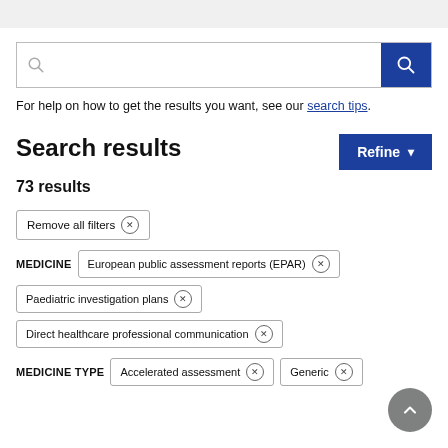[Figure (screenshot): Search box with a magnifying glass icon on the left and a blue search button with white magnifying glass on the right]
For help on how to get the results you want, see our search tips.
Search results
73 results
Remove all filters ×
MEDICINE  European public assessment reports (EPAR) ×
Paediatric investigation plans ×
Direct healthcare professional communication ×
MEDICINE TYPE  Accelerated assessment ×  Generic ×